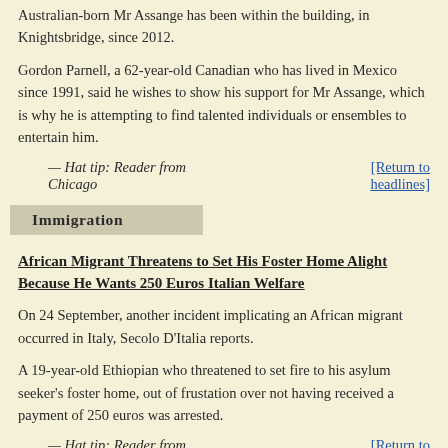Australian-born Mr Assange has been within the building, in Knightsbridge, since 2012.
Gordon Parnell, a 62-year-old Canadian who has lived in Mexico since 1991, said he wishes to show his support for Mr Assange, which is why he is attempting to find talented individuals or ensembles to entertain him.
— Hat tip: Reader from Chicago
[Return to headlines]
Immigration
African Migrant Threatens to Set His Foster Home Alight Because He Wants 250 Euros Italian Welfare
On 24 September, another incident implicating an African migrant occurred in Italy, Secolo D'Italia reports.
A 19-year-old Ethiopian who threatened to set fire to his asylum seeker's foster home, out of frustation over not having received a payment of 250 euros was arrested.
— Hat tip: Reader from
[Return to